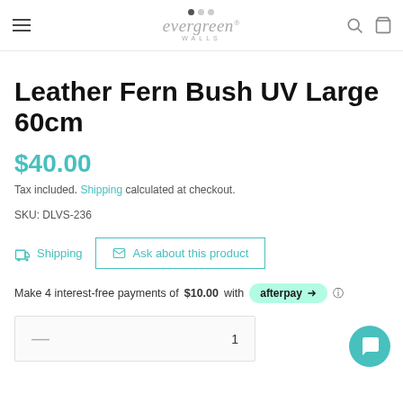evergreen® WALLS — navigation header
Leather Fern Bush UV Large 60cm
$40.00
Tax included. Shipping calculated at checkout.
SKU: DLVS-236
Shipping   Ask about this product
Make 4 interest-free payments of $10.00 with afterpay
1